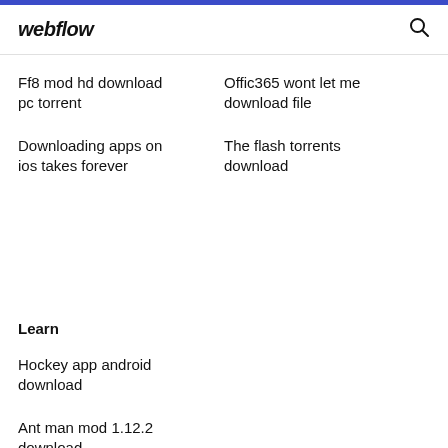webflow
Ff8 mod hd download pc torrent
Offic365 wont let me download file
Downloading apps on ios takes forever
The flash torrents download
Learn
Hockey app android download
Ant man mod 1.12.2 download